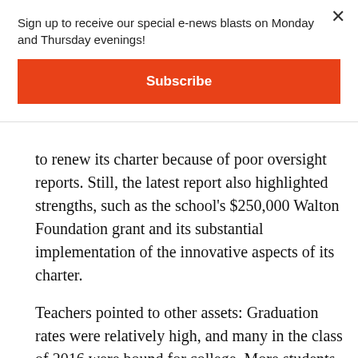Sign up to receive our special e-news blasts on Monday and Thursday evenings!
Subscribe
to renew its charter because of poor oversight reports. Still, the latest report also highlighted strengths, such as the school's $250,000 Walton Foundation grant and its substantial implementation of the innovative aspects of its charter.
Teachers pointed to other assets: Graduation rates were relatively high, and many in the class of 2016 were bound for college. More students than the original the